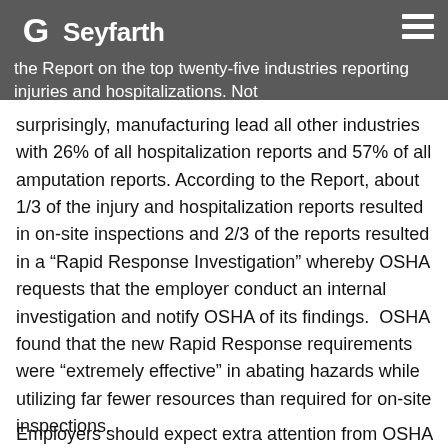Seyfarth
the Report on the top twenty-five industries reporting injuries and hospitalizations. Not surprisingly, manufacturing lead all other industries with 26% of all hospitalization reports and 57% of all amputation reports. According to the Report, about 1/3 of the injury and hospitalization reports resulted in on-site inspections and 2/3 of the reports resulted in a “Rapid Response Investigation” whereby OSHA requests that the employer conduct an internal investigation and notify OSHA of its findings.  OSHA found that the new Rapid Response requirements were “extremely effective” in abating hazards while utilizing far fewer resources than required for on-site inspections.
Employers should expect extra attention from OSHA